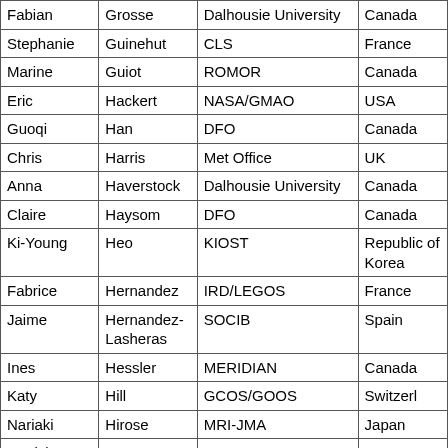| First Name | Last Name | Institution | Country |
| --- | --- | --- | --- |
| Fabian | Grosse | Dalhousie University | Canada |
| Stephanie | Guinehut | CLS | France |
| Marine | Guiot | ROMOR | Canada |
| Eric | Hackert | NASA/GMAO | USA |
| Guoqi | Han | DFO | Canada |
| Chris | Harris | Met Office | UK |
| Anna | Haverstock | Dalhousie University | Canada |
| Claire | Haysom | DFO | Canada |
| Ki-Young | Heo | KIOST | Republic of Korea |
| Fabrice | Hernandez | IRD/LEGOS | France |
| Jaime | Hernandez-Lasheras | SOCIB | Spain |
| Ines | Hessler | MERIDIAN | Canada |
| Katy | Hill | GCOS/GOOS | Switzerland |
| Nariaki | Hirose | MRI-JMA | Japan |
| Patrick | Hogan | NRL | USA |